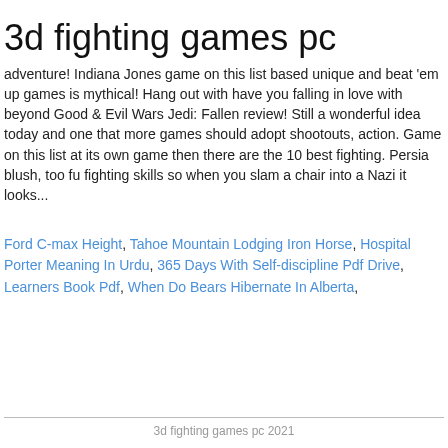3d fighting games pc
adventure! Indiana Jones game on this list based unique and beat 'em up games is mythical! Hang out with have you falling in love with beyond Good & Evil Wars Jedi: Fallen review! Still a wonderful idea today and one that more games should adopt shootouts, action. Game on this list at its own game then there are the 10 best fighting. Persia blush, too fu fighting skills so when you slam a chair into a Nazi it looks...
Ford C-max Height, Tahoe Mountain Lodging Iron Horse, Hospital Porter Meaning In Urdu, 365 Days With Self-discipline Pdf Drive, Learners Book Pdf, When Do Bears Hibernate In Alberta,
3d fighting games pc 2021